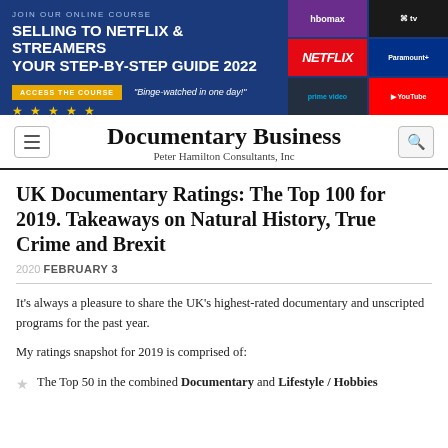[Figure (infographic): Banner advertisement for an online course 'Selling to Netflix & Streamers: Your Step-by-Step Guide 2022' with streaming service logos (HBO Max, Apple TV, Netflix, Paramount, Prime Video, YouTube) on the right side.]
Documentary Business
Peter Hamilton Consultants, Inc
UK Documentary Ratings: The Top 100 for 2019. Takeaways on Natural History, True Crime and Brexit
2020 FEBRUARY 3
It's always a pleasure to share the UK's highest-rated documentary and unscripted programs for the past year.
My ratings snapshot for 2019 is comprised of:
The Top 50 in the combined Documentary and Lifestyle / Hobbies genres.